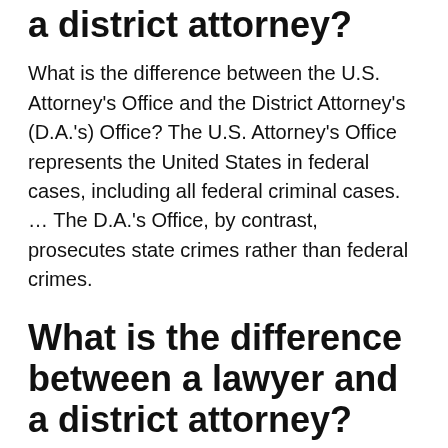a district attorney?
What is the difference between the U.S. Attorney's Office and the District Attorney's (D.A.'s) Office? The U.S. Attorney's Office represents the United States in federal cases, including all federal criminal cases. … The D.A.'s Office, by contrast, prosecutes state crimes rather than federal crimes.
What is the difference between a lawyer and a district attorney?
A lawyer is simply one who is trained in the law. … In comparison to lawyers who can be hired by anyone (including the government), the District Attorney works only as a prosecutor th...